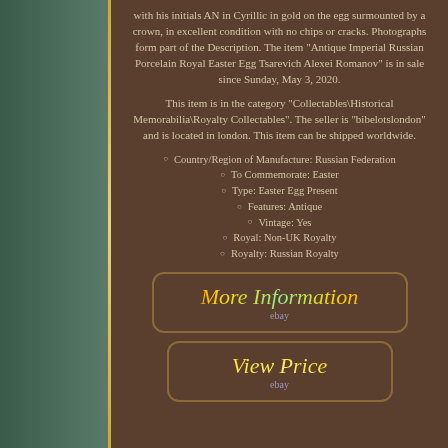with his initials AN in Cyrillic in gold on the egg surmounted by a crown, in excellent condition with no chips or cracks. Photographs form part of the Description. The item "Antique Imperial Russian Porcelain Royal Easter Egg Tsarevich Alexei Romanov" is in sale since Sunday, May 3, 2020.
This item is in the category "Collectables\Historical Memorabilia\Royalty Collectables". The seller is "bibelotslondon" and is located in london. This item can be shipped worldwide.
Country/Region of Manufacture: Russian Federation
To Commemorate: Easter
Type: Easter Egg Present
Features: Antique
Vintage: Yes
Royal: Non-UK Royalty
Royalty: Russian Royalty
[Figure (other): eBay button labeled 'More Information' with colorful italic text and ebay logo, brown rounded rectangle border]
[Figure (other): eBay button labeled 'View Price' with gold italic text and ebay logo, brown rounded rectangle border]